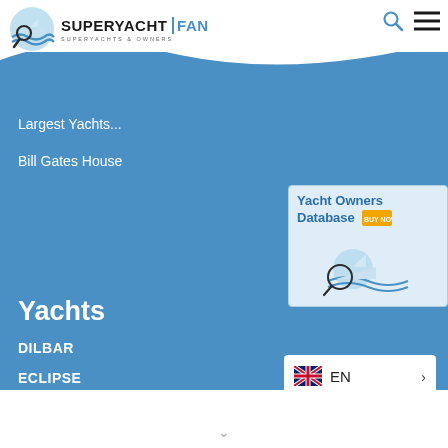[Figure (logo): SuperyachtFan logo with magnifying glass over yacht silhouette and waves]
SUPERYACHT | FAN SUPERYACHTS & OWNERS
Largest Yachts...
Bill Gates House
[Figure (illustration): Yacht Owners Database promotional card with magnifying glass and yacht icon]
Yachts
DILBAR
ECLIPSE
[Figure (infographic): Language selector showing UK flag and EN with chevron]